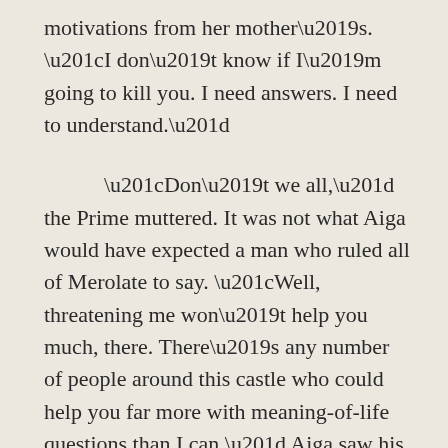motivations from her mother's.  “I don’t know if I’m going to kill you.  I need answers.  I need to understand.”
“Don’t we all,” the Prime muttered.  It was not what Aiga would have expected a man who ruled all of Merolate to say.  “Well, threatening me won’t help you much, there.  There’s any number of people around this castle who could help you far more with meaning-of-life questions than I can.”  Aiga saw his grip on his sword tighten.  “But I’m not going to let you get to them.”